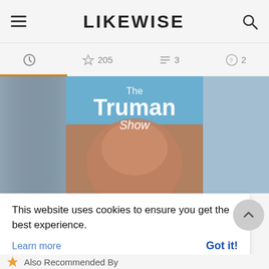LIKEWISE
205   3   2
[Figure (screenshot): The Truman Show movie poster showing a mosaic face looking upward with blue sky background]
This website uses cookies to ensure you get the best experience.
Learn more   Got it!
Also Recommended By